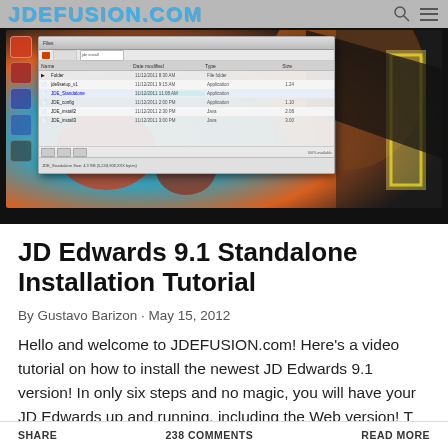JDEFUSION.COM
[Figure (screenshot): Screenshot of a file manager window on a desktop with colorful abstract wallpaper showing red/orange and teal colors, with a sidebar of application icons on the left]
JD Edwards 9.1 Standalone Installation Tutorial
By Gustavo Barizon · May 15, 2012
Hello and welcome to JDEFUSION.com! Here's a video tutorial on how to install the newest JD Edwards 9.1 version! In only six steps and no magic, you will have your JD Edwards up and running, including the Web version! T ...
SHARE    238 COMMENTS    READ MORE